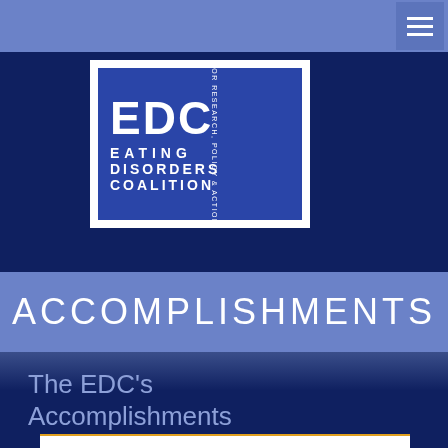[Figure (logo): EDC Eating Disorders Coalition for Research, Policy & Action logo — blue square with white bold 'EDC' letters, and 'EATING DISORDERS COALITION' text below, with vertical text 'FOR RESEARCH, POLICY & ACTION' on the right side]
ACCOMPLISHMENTS
The EDC's Accomplishments